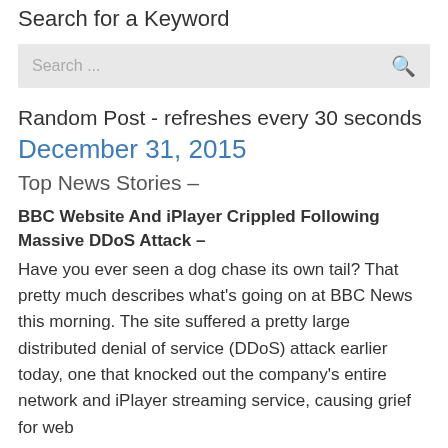Search for a Keyword
[Figure (screenshot): Search input box with placeholder text 'Search ...' and a search icon on the right]
Random Post - refreshes every 30 seconds
December 31, 2015
Top News Stories –
BBC Website And iPlayer Crippled Following Massive DDoS Attack –
Have you ever seen a dog chase its own tail? That pretty much describes what's going on at BBC News this morning. The site suffered a pretty large distributed denial of service (DDoS) attack earlier today, one that knocked out the company's entire network and iPlayer streaming service, causing grief for web